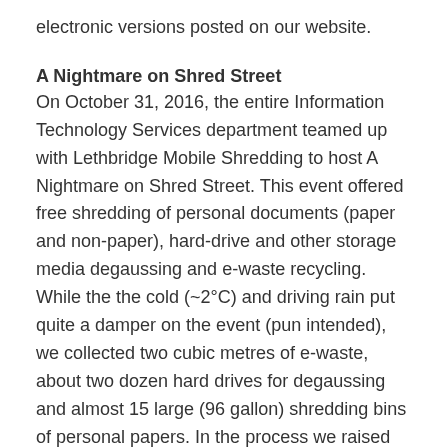electronic versions posted on our website.
A Nightmare on Shred Street
On October 31, 2016, the entire Information Technology Services department teamed up with Lethbridge Mobile Shredding to host A Nightmare on Shred Street. This event offered free shredding of personal documents (paper and non-paper), hard-drive and other storage media degaussing and e-waste recycling. While the the cold (~2°C) and driving rain put quite a damper on the event (pun intended), we collected two cubic metres of e-waste, about two dozen hard drives for degaussing and almost 15 large (96 gallon) shredding bins of personal papers. In the process we raised $170 and about two 121L garbage cans full of food donations for the campus food bank!
Next Year
If anyone has ideas on how we can make this annual celebration of Information Management and Security better